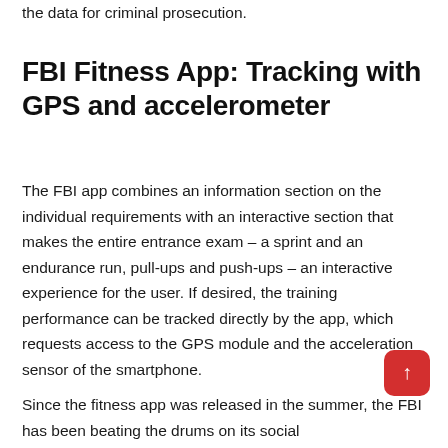the data for criminal prosecution.
FBI Fitness App: Tracking with GPS and accelerometer
The FBI app combines an information section on the individual requirements with an interactive section that makes the entire entrance exam – a sprint and an endurance run, pull-ups and push-ups – an interactive experience for the user. If desired, the training performance can be tracked directly by the app, which requests access to the GPS module and the acceleration sensor of the smartphone.
Since the fitness app was released in the summer, the FBI has been beating the drums on its social